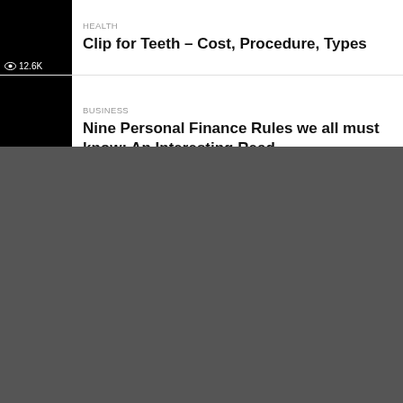[Figure (photo): Black thumbnail image with eye icon and view count 12.6K at bottom left]
HEALTH
Clip for Teeth – Cost, Procedure, Types
[Figure (photo): Black thumbnail image with eye icon and view count 13.9K at bottom left]
BUSINESS
Nine Personal Finance Rules we all must know: An Interesting Read
[Figure (photo): Dark gray/charcoal background section filling the lower portion of the page]